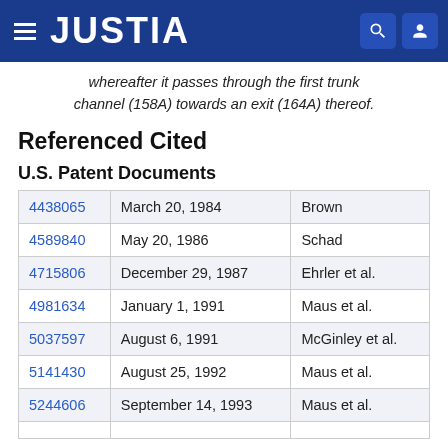JUSTIA
whereafter it passes through the first trunk channel (158A) towards an exit (164A) thereof.
Referenced Cited
U.S. Patent Documents
| Patent Number | Date | Inventor |
| --- | --- | --- |
| 4438065 | March 20, 1984 | Brown |
| 4589840 | May 20, 1986 | Schad |
| 4715806 | December 29, 1987 | Ehrler et al. |
| 4981634 | January 1, 1991 | Maus et al. |
| 5037597 | August 6, 1991 | McGinley et al. |
| 5141430 | August 25, 1992 | Maus et al. |
| 5244606 | September 14, 1993 | Maus et al. |